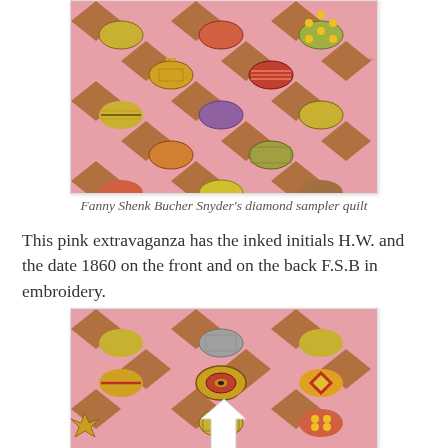[Figure (photo): Close-up photograph of Fanny Shenk Bucher Snyder's diamond sampler quilt showing colorful pink, yellow, olive/brown diamond and oval patchwork pattern with various fabric designs]
Fanny Shenk Bucher Snyder's diamond sampler quilt
This pink extravaganza has the inked initials H.W. and the date 1860 on the front and on the back F.S.B in embroidery.
[Figure (photo): Close-up photograph of the same diamond sampler quilt with a white arrow pointing to a specific detail/patch in the center of the image]